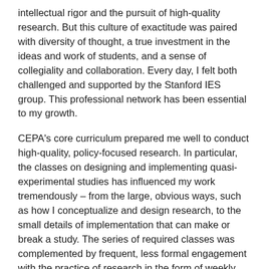intellectual rigor and the pursuit of high-quality research. But this culture of exactitude was paired with diversity of thought, a true investment in the ideas and work of students, and a sense of collegiality and collaboration. Every day, I felt both challenged and supported by the Stanford IES group. This professional network has been essential to my growth.
CEPA's core curriculum prepared me well to conduct high-quality, policy-focused research. In particular, the classes on designing and implementing quasi-experimental studies has influenced my work tremendously – from the large, obvious ways, such as how I conceptualize and design research, to the small details of implementation that can make or break a study. The series of required classes was complemented by frequent, less formal engagement with the practice of research in the form of weekly seminars in which students presented work in progress and an unparalleled seminar series with speakers from other institutions.